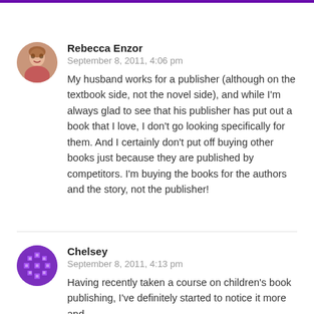Rebecca Enzor
September 8, 2011, 4:06 pm
My husband works for a publisher (although on the textbook side, not the novel side), and while I'm always glad to see that his publisher has put out a book that I love, I don't go looking specifically for them. And I certainly don't put off buying other books just because they are published by competitors. I'm buying the books for the authors and the story, not the publisher!
Chelsey
September 8, 2011, 4:13 pm
Having recently taken a course on children's book publishing, I've definitely started to notice it more and